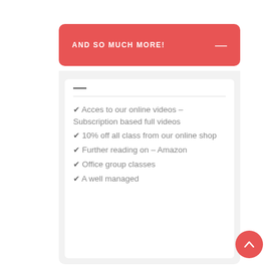AND SO MUCH MORE!
✔ Acces to our online videos – Subscription based full videos
✔ 10% off all class from our online shop
✔ Further reading on – Amazon
✔ Office group classes
✔ A well managed